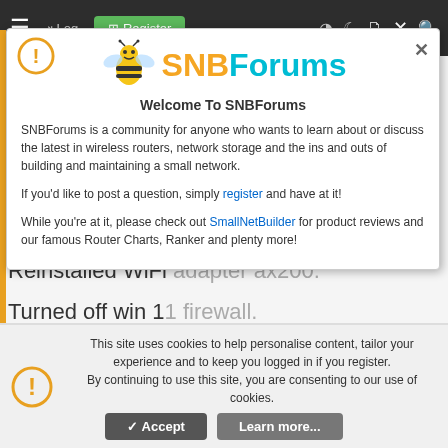≡  Log in  Register
Flashed a new firmware. Asuswrt-Merlin. First I went to 380 merlin official but didn't helped.
Removed wintun adapter and reinstalled.
Reinstalled astrill app few times.
Reinstalled WiFi adapter ax200.
Turned off win 11 firewall.
Nothing seems to be working. The astrill VPN works in the router applet fine but it doesn't work whenever adapter created by the astrill during installation is being used. Adapter is need to be used when tunneling apps through VPN, and it doesn't work.
[Figure (screenshot): SNBForums welcome modal popup with warning icon, SNBForums bee logo and text, close button, welcome message text about the community, registration link, SmallNetBuilder link with Router Charts and Ranker mentions.]
Welcome To SNBForums
SNBForums is a community for anyone who wants to learn about or discuss the latest in wireless routers, network storage and the ins and outs of building and maintaining a small network.
If you'd like to post a question, simply register and have at it!
While you're at it, please check out SmallNetBuilder for product reviews and our famous Router Charts, Ranker and plenty more!
This site uses cookies to help personalise content, tailor your experience and to keep you logged in if you register.
By continuing to use this site, you are consenting to our use of cookies.